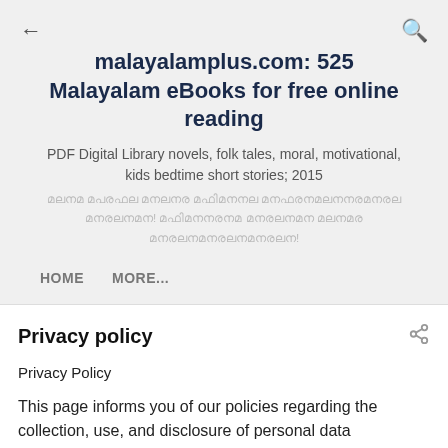malayalamplus.com: 525 Malayalam eBooks for free online reading
PDF Digital Library novels, folk tales, moral, motivational, kids bedtime short stories; 2015
[Malayalam text in local script]
HOME
MORE...
Privacy policy
Privacy Policy
This page informs you of our policies regarding the collection, use, and disclosure of personal data